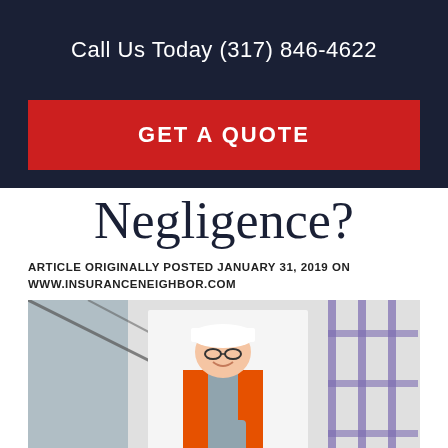Call Us Today (317) 846-4622
GET A QUOTE
Negligence?
ARTICLE ORIGINALLY POSTED JANUARY 31, 2019 ON WWW.INSURANCENEIGHBOR.COM
[Figure (photo): Construction worker wearing a white hard hat, glasses, and an orange safety vest, smiling and looking down, with scaffolding and building structure in the background.]